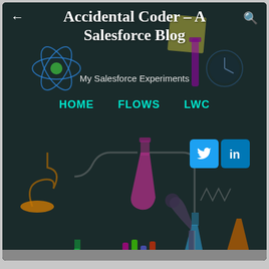[Figure (screenshot): Blog website header screenshot showing 'Accidental Coder - A Salesforce Blog' with laboratory/chemistry themed dark background illustration featuring flasks, microscopes, atoms, and test tubes in various colors]
Accidental Coder – A Salesforce Blog
My Salesforce Experiments
HOME
FLOWS
LWC